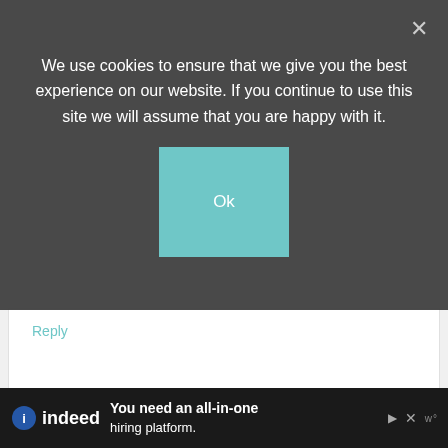We use cookies to ensure that we give you the best experience on our website. If you continue to use this site we will assume that you are happy with it.
Ok
Reply
HEATHER GALLAGHER SAYS
November 11, 2016 at 9:19 am
Oh my gosh – yes yes yes! These look
[Figure (screenshot): Indeed advertisement banner: 'You need an all-in-one hiring platform.' with Indeed logo and close/play icons]